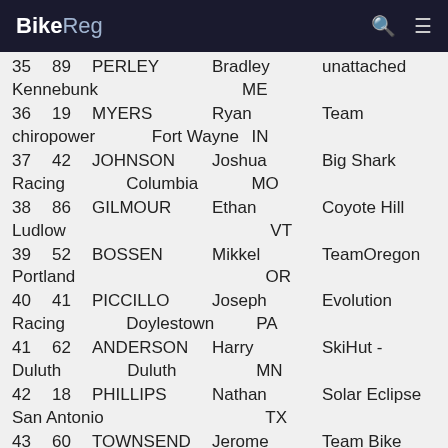BikeReg
35  89  PERLEY  Bradley  unattached  Kennebunk  ME
36  19  MYERS  Ryan  Team chiropower  Fort Wayne  IN
37  42  JOHNSON  Joshua  Big Shark Racing  Columbia  MO
38  86  GILMOUR  Ethan  Coyote Hill  Ludlow  VT
39  52  BOSSEN  Mikkel  TeamOregon  Portland  OR
40  41  PICCILLO  Joseph  Evolution Racing  Doylestown  PA
41  62  ANDERSON  Harry  SkiHut - Duluth  Duluth  MN
42  18  PHILLIPS  Nathan  Solar Eclipse  San Antonio  TX
43  60  TOWNSEND  Jerome  Team Bike  Albuquerque  NM